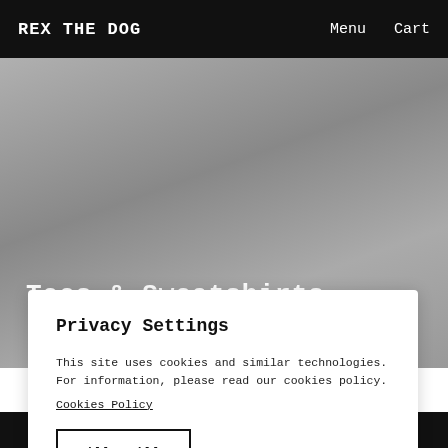REX THE DOG   Menu   Cart
Tees & Sweatshirts
Privacy Settings
This site uses cookies and similar technologies. For information, please read our cookies policy.
Cookies Policy
Allow All
Manage Consent Preferences